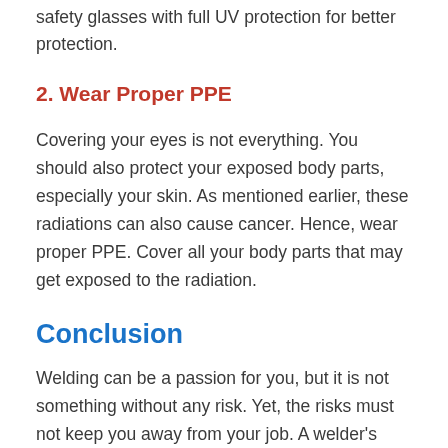safety glasses with full UV protection for better protection.
2. Wear Proper PPE
Covering your eyes is not everything. You should also protect your exposed body parts, especially your skin. As mentioned earlier, these radiations can also cause cancer. Hence, wear proper PPE. Cover all your body parts that may get exposed to the radiation.
Conclusion
Welding can be a passion for you, but it is not something without any risk. Yet, the risks must not keep you away from your job. A welder's primary job is to ensure their safety. Knowing the risks would help you see risks from a different point. Thus, you can practice better methods to protect yourself. That said, we hope you have got your